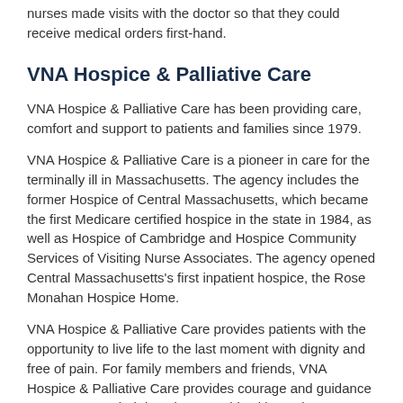nurses made visits with the doctor so that they could receive medical orders first-hand.
VNA Hospice & Palliative Care
VNA Hospice & Palliative Care has been providing care, comfort and support to patients and families since 1979.
VNA Hospice & Palliative Care is a pioneer in care for the terminally ill in Massachusetts. The agency includes the former Hospice of Central Massachusetts, which became the first Medicare certified hospice in the state in 1984, as well as Hospice of Cambridge and Hospice Community Services of Visiting Nurse Associates. The agency opened Central Massachusetts's first inpatient hospice, the Rose Monahan Hospice Home.
VNA Hospice & Palliative Care provides patients with the opportunity to live life to the last moment with dignity and free of pain. For family members and friends, VNA Hospice & Palliative Care provides courage and guidance to accompany their loved one on this ultimate journey. Along with comfort and care, we provide expert pain and symptom management and special programs for individuals with Intellectual Disabilities, Alzheimer's/Dementia